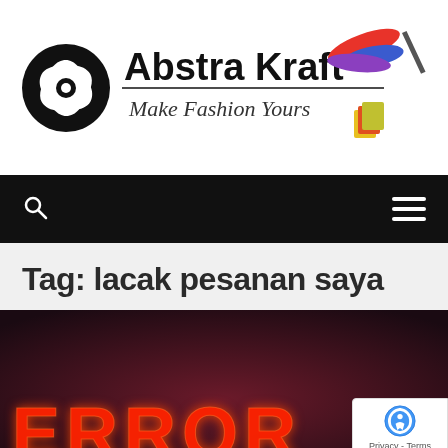[Figure (logo): Abstra Kraft logo with black swirl icon, bold text 'Abstra Kraft', italic subtitle 'Make Fashion Yours', and colorful paint splash decoration with shopping bag icon]
[Figure (infographic): Black navigation bar with white search icon on left and white hamburger menu icon on right]
Tag: lacak pesanan saya
[Figure (photo): Dark reddish background with neon red ERROR text at the bottom, partially visible]